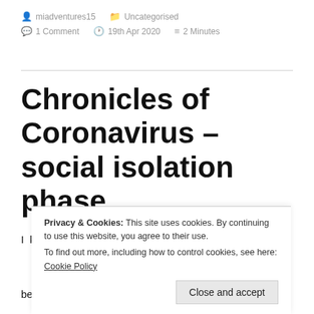miadventures15   Uncategorised   1 Comment   19th Apr 2020   2 Minutes
Chronicles of Coronavirus – social isolation phase
I know you have all been hearing and been talking
because they have either got the virus and are in
Privacy & Cookies: This site uses cookies. By continuing to use this website, you agree to their use.
To find out more, including how to control cookies, see here: Cookie Policy